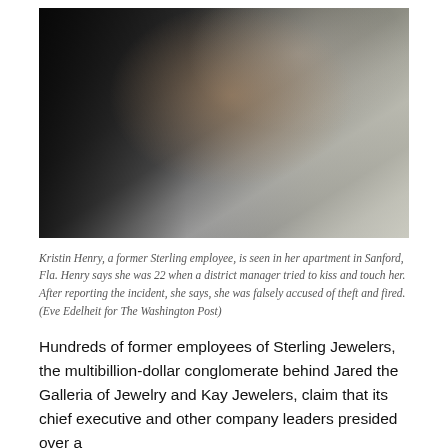[Figure (photo): A woman with long wavy blonde hair looks out a window. She appears contemplative. The background shows a dark exterior and window frames.]
Kristin Henry, a former Sterling employee, is seen in her apartment in Sanford, Fla. Henry says she was 22 when a district manager tried to kiss and touch her. After reporting the incident, she says, she was falsely accused of theft and fired. (Eve Edelheit for The Washington Post)
Hundreds of former employees of Sterling Jewelers, the multibillion-dollar conglomerate behind Jared the Galleria of Jewelry and Kay Jewelers, claim that its chief executive and other company leaders presided over a